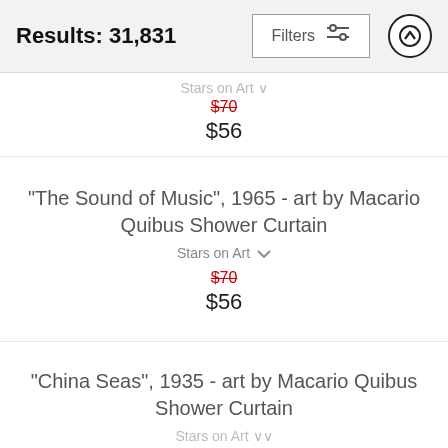Results: 31,831
Stars on Art (partial, top of page, cut off)
$70 (strikethrough) $56
"The Sound of Music", 1965 - art by Macario Quibus Shower Curtain
Stars on Art
$70 (strikethrough) $56
"China Seas", 1935 - art by Macario Quibus Shower Curtain
Stars on Art (partially visible)